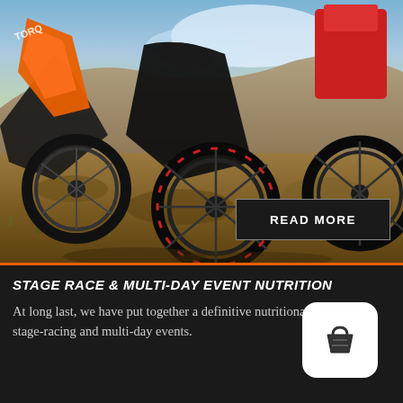[Figure (photo): Mountain bikers racing on a rocky trail. Riders wearing orange TORQ jerseys on black bikes, with rugged brown hillside terrain in background. A 'READ MORE' button overlay appears in the lower right of the image.]
STAGE RACE & MULTI-DAY EVENT NUTRITION
At long last, we have put together a definitive nutritional guide for stage-racing and multi-day events.